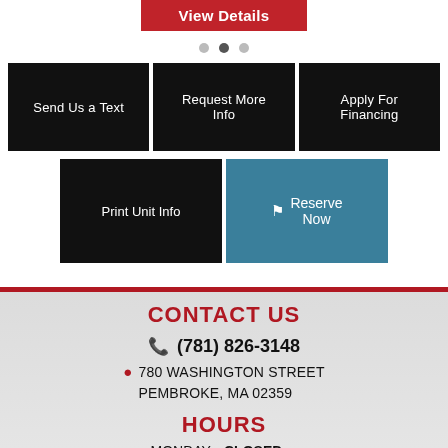[Figure (screenshot): View Details red button at top]
[Figure (screenshot): Carousel navigation dots, middle dot active]
[Figure (screenshot): Three black buttons: Send Us a Text, Request More Info, Apply For Financing]
[Figure (screenshot): Two buttons: Print Unit Info (black) and Reserve Now (teal)]
CONTACT US
(781) 826-3148
780 WASHINGTON STREET PEMBROKE, MA 02359
HOURS
MONDAY: CLOSED
TUES - FRI: 8AM - 5PM
SATURDAY 8AM - 3PM